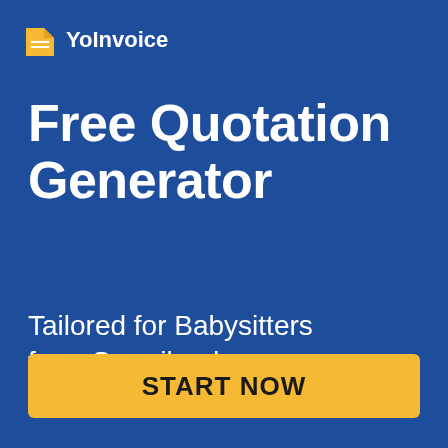[Figure (logo): YoInvoice logo with orange page/document icon and white text 'YoInvoice']
Free Quotation Generator
Tailored for Babysitters from Swaziland
START NOW